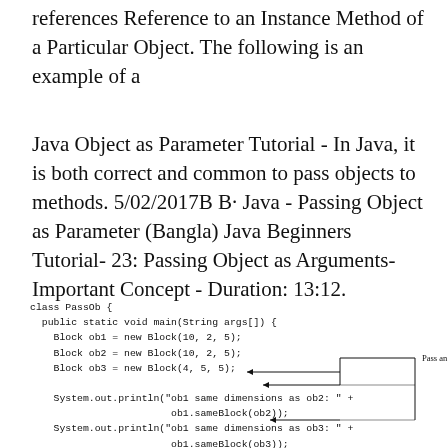references Reference to an Instance Method of a Particular Object. The following is an example of a
Java Object as Parameter Tutorial - In Java, it is both correct and common to pass objects to methods. 5/02/2017B B· Java - Passing Object as Parameter (Bangla) Java Beginners Tutorial- 23: Passing Object as Arguments- Important Concept - Duration: 13:12.
class PassOb {
  public static void main(String args[]) {
    Block ob1 = new Block(10, 2, 5);
    Block ob2 = new Block(10, 2, 5);
    Block ob3 = new Block(4, 5, 5);

    System.out.println("ob1 same dimensions as ob2: " +
                        ob1.sameBlock(ob2));
    System.out.println("ob1 same dimensions as ob3: " +
                        ob1.sameBlock(ob3));
    System.out.println("ob1 same volume as ob3: " +
                        ob1.sameVolume(ob3));
  }
}